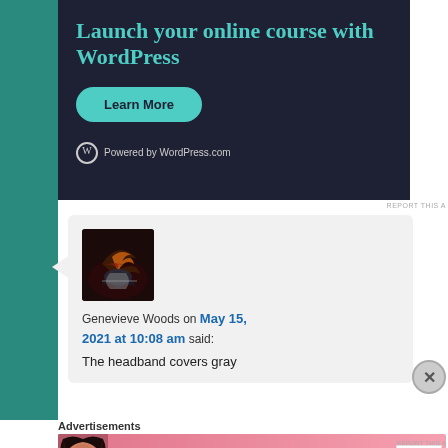[Figure (screenshot): WordPress.com advertisement banner with dark navy background, teal heading 'Launch your online course with WordPress', a teal 'Learn More' pill button, and 'Powered by WordPress.com' footer with WordPress logo.]
REPORT THIS A
[Figure (screenshot): Comment card with speech bubble tail. Shows avatar image of colorful bird/fish, commenter name 'Genevieve Woods on May 15, 2021 at 10:08 am said:' followed by comment text 'The headband covers gray']
Advertisements
[Figure (screenshot): Victoria's Secret advertisement banner with pink gradient background, VS logo, 'SHOP THE COLLECTION' text, and 'SHOP NOW' white button.]